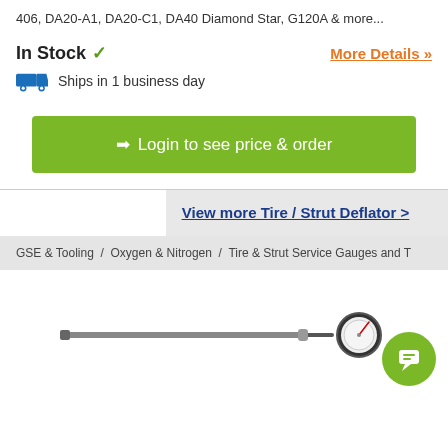406, DA20-A1, DA20-C1, DA40 Diamond Star, G120A & more...
In Stock ✓
More Details »
Ships in 1 business day
➔] Login to see price & order
View more Tire / Strut Deflator >
GSE & Tooling / Oxygen & Nitrogen / Tire & Strut Service Gauges and T
[Figure (photo): Tire pressure gauge tool with long handle and circular dial gauge at the end]